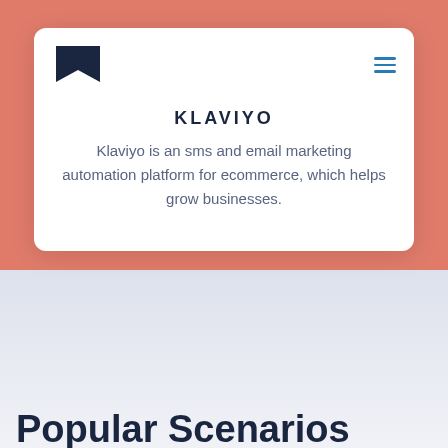[Figure (screenshot): Klaviyo logo — a black flag/bookmark shape icon]
KLAVIYO
Klaviyo is an sms and email marketing automation platform for ecommerce, which helps grow businesses.
Popular Scenarios